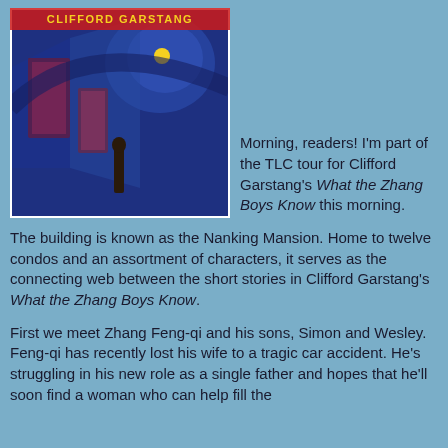[Figure (illustration): Book cover of 'What the Zhang Boys Know' by Clifford Garstang. Dark blue abstract painting with red doorways, a swirling moon or light source, and a lone figure. Author name 'CLIFFORD GARSTANG' in gold/yellow text at top.]
Morning, readers! I'm part of the TLC tour for Clifford Garstang's What the Zhang Boys Know this morning.
The building is known as the Nanking Mansion. Home to twelve condos and an assortment of characters, it serves as the connecting web between the short stories in Clifford Garstang's What the Zhang Boys Know.
First we meet Zhang Feng-qi and his sons, Simon and Wesley. Feng-qi has recently lost his wife to a tragic car accident. He's struggling in his new role as a single father and hopes that he'll soon find a woman who can help fill the